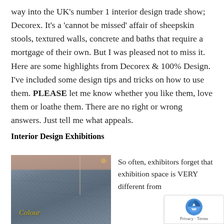way into the UK's number 1 interior design trade show; Decorex. It's a 'cannot be missed' affair of sheepskin stools, textured walls, concrete and baths that require a mortgage of their own. But I was pleased not to miss it. Here are some highlights from Decorex & 100% Design. I've included some design tips and tricks on how to use them. PLEASE let me know whether you like them, love them or loathe them. There are no right or wrong answers. Just tell me what appeals.
Interior Design Exhibitions
[Figure (photo): Stone/granite textured wall with pink/beige top bar and gold italic text 'Colour' at lower left, from an interior design exhibition stand.]
So often, exhibitors forget that exhibition space is VERY different from